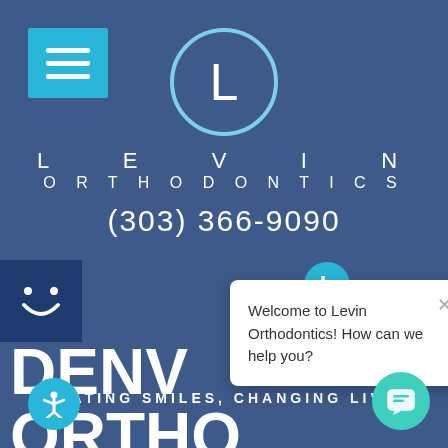[Figure (screenshot): Levin Orthodontics website screenshot with logo, navigation, phone number, and chat widget on blue background]
L E V I N
ORTHODONTICS
(303) 366-9090
DENVER
ORTHODONTIST
CREATING SMILES, CHANGING LIVES.
Welcome to Levin Orthodontics! How can we help you?